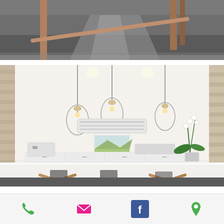[Figure (photo): Top portion of an interior space photo showing dark concrete floor and wooden furniture legs, cropped at top of page]
[Figure (photo): Interior of a bright white meeting room/studio with three glass pendant lights hanging from ceiling, a white wall with a small landscape painting, an air conditioning unit mounted on the wall, white cabinetry along the back wall, an orchid plant in the right corner, and a long white table with wooden cross-leg frame in the foreground]
EVENTS + GALLERY
[Figure (infographic): Bottom navigation bar with four icons: green phone icon, pink/magenta envelope icon, blue Facebook icon, and green location pin icon]